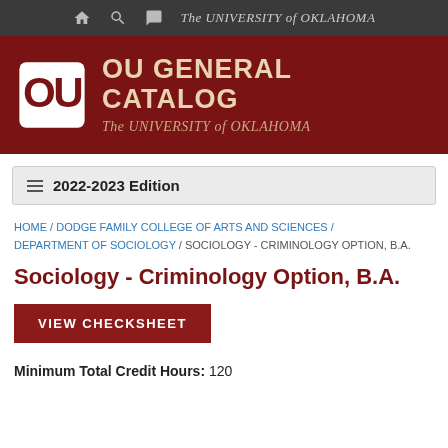The University of Oklahoma
[Figure (logo): OU General Catalog header banner with OU logo and text 'OU GENERAL CATALOG - The University of Oklahoma' on dark crimson background]
2022-2023 Edition
HOME / DODGE FAMILY COLLEGE OF ARTS AND SCIENCES / DEPARTMENT OF SOCIOLOGY / SOCIOLOGY - CRIMINOLOGY OPTION, B.A.
Sociology - Criminology Option, B.A.
VIEW CHECKSHEET
Minimum Total Credit Hours: 120